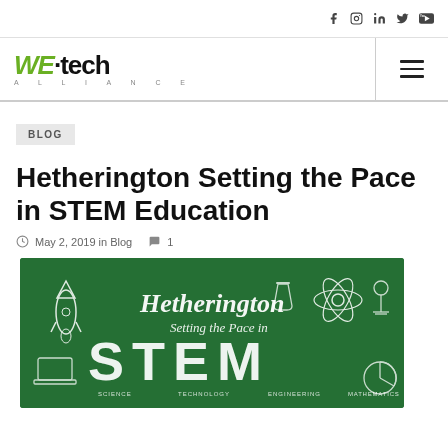Social icons: Facebook, Instagram, LinkedIn, Twitter, YouTube
[Figure (logo): WE·tech Alliance logo with green italic WE and black tech text, ALLIANCE subtitle]
BLOG
Hetherington Setting the Pace in STEM Education
May 2, 2019 in Blog  1
[Figure (illustration): Dark green chalkboard banner image with chalk-drawn rocket, atom, beakers, chess piece, laptop, and pie chart. White chalk text reads: Hetherington Setting the Pace in STEM (Science Technology Engineering Mathematics)]